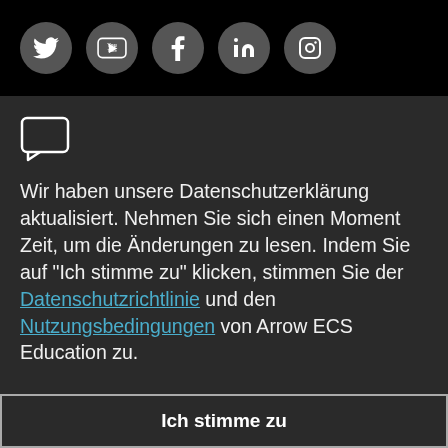[Figure (illustration): Row of 5 social media icons (Twitter, YouTube, Facebook, LinkedIn, Instagram) as white icons on dark grey circular buttons against a black background]
[Figure (illustration): Chat bubble / speech bubble icon in white outline]
Wir haben unsere Datenschutzerklärung aktualisiert. Nehmen Sie sich einen Moment Zeit, um die Änderungen zu lesen. Indem Sie auf "Ich stimme zu" klicken, stimmen Sie der Datenschutzrichtlinie und den Nutzungsbedingungen von Arrow ECS Education zu.
Ich stimme zu